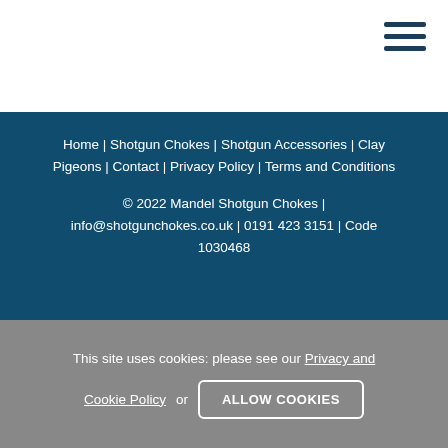Home | Shotgun Chokes | Shotgun Accessories | Clay Pigeons | Contact | Privacy Policy | Terms and Conditions
© 2022 Mandel Shotgun Chokes | info@shotgunchokes.co.uk | 0191 423 3151 | Code 1030468
This site uses cookies: please see our Privacy and Cookie Policy or ALLOW COOKIES